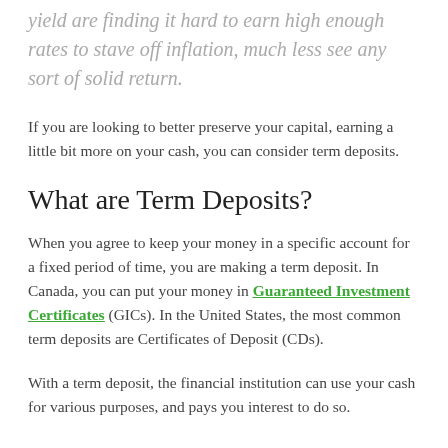yield are finding it hard to earn high enough rates to stave off inflation, much less see any sort of solid return.
If you are looking to better preserve your capital, earning a little bit more on your cash, you can consider term deposits.
What are Term Deposits?
When you agree to keep your money in a specific account for a fixed period of time, you are making a term deposit. In Canada, you can put your money in Guaranteed Investment Certificates (GICs). In the United States, the most common term deposits are Certificates of Deposit (CDs).
With a term deposit, the financial institution can use your cash for various purposes, and pays you interest to do so.